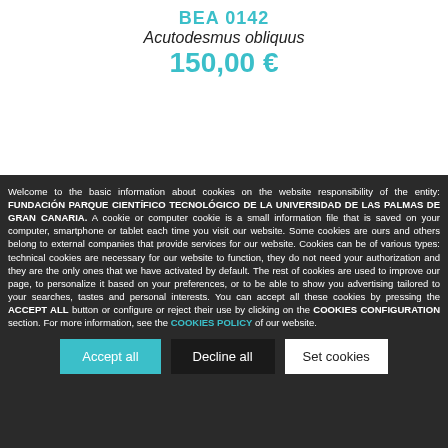BEA 0142
Acutodesmus obliquus
150,00 €
Welcome to the basic information about cookies on the website responsibility of the entity: FUNDACIÓN PARQUE CIENTÍFICO TECNOLÓGICO DE LA UNIVERSIDAD DE LAS PALMAS DE GRAN CANARIA. A cookie or computer cookie is a small information file that is saved on your computer, smartphone or tablet each time you visit our website. Some cookies are ours and others belong to external companies that provide services for our website. Cookies can be of various types: technical cookies are necessary for our website to function, they do not need your authorization and they are the only ones that we have activated by default. The rest of cookies are used to improve our page, to personalize it based on your preferences, or to be able to show you advertising tailored to your searches, tastes and personal interests. You can accept all these cookies by pressing the ACCEPT ALL button or configure or reject their use by clicking on the COOKIES CONFIGURATION section. For more information, see the COOKIES POLICY of our website.
Accept all
Decline all
Set cookies